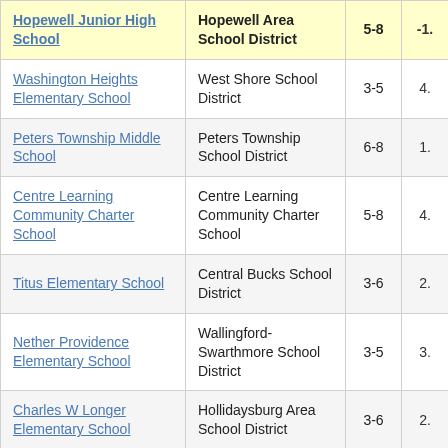| School | District | Grades | Value |
| --- | --- | --- | --- |
| Hopewell Junior High School | Hopewell Area School District | 5-8 | -1. |
| Washington Heights Elementary School | West Shore School District | 3-5 | 4. |
| Peters Township Middle School | Peters Township School District | 6-8 | 1. |
| Centre Learning Community Charter School | Centre Learning Community Charter School | 5-8 | 4. |
| Titus Elementary School | Central Bucks School District | 3-6 | 2. |
| Nether Providence Elementary School | Wallingford-Swarthmore School District | 3-5 | 3. |
| Charles W Longer Elementary School | Hollidaysburg Area School District | 3-6 | 2. |
| Wilson Woodrow... | Philadelphia City... |  |  |